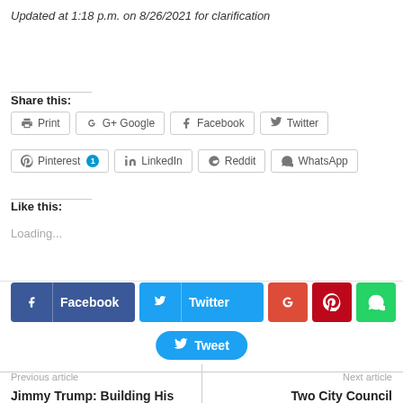Updated at 1:18 p.m. on 8/26/2021 for clarification
Share this:
Print  Google  Facebook  Twitter  Pinterest 1  LinkedIn  Reddit  WhatsApp
Like this:
Loading...
[Figure (other): Social sharing buttons row: Facebook, Twitter, Google+, Pinterest, WhatsApp square buttons and a Tweet button]
Previous article
Next article
Jimmy Trump: Building His
Two City Council